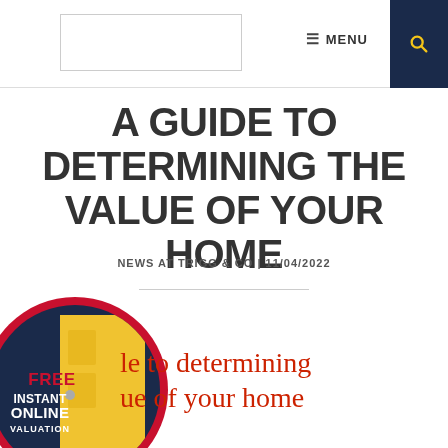[Figure (screenshot): Navigation bar with logo placeholder box, hamburger menu icon with MENU text, and dark navy search button with yellow magnifying glass icon]
A GUIDE TO DETERMINING THE VALUE OF YOUR HOME
NEWS AT TRIGG & CO | 11/04/2022
[Figure (illustration): Circular badge with dark navy background and red border. Text reads FREE INSTANT ONLINE VALUATION CLICK HERE in white/red. Center shows a yellow door image.]
...le to determining ...ue of your home